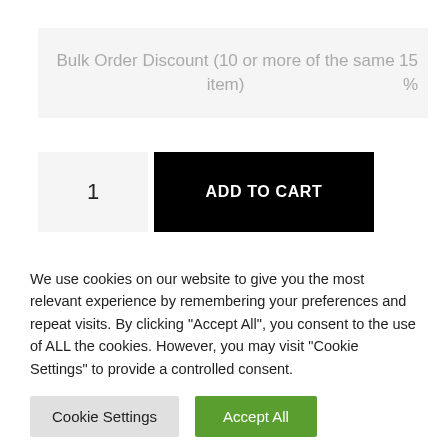|  |  |
| --- | --- |
| Bulk Order Discount (10 or more of the same item) | 15% |
1
ADD TO CART
Categories: Little Travellers, Little Traveller People
We use cookies on our website to give you the most relevant experience by remembering your preferences and repeat visits. By clicking "Accept All", you consent to the use of ALL the cookies. However, you may visit "Cookie Settings" to provide a controlled consent.
Cookie Settings
Accept All